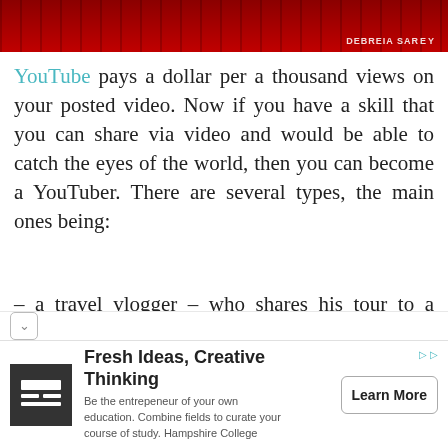[Figure (photo): Red-tinted banner image at the top of the page with text 'DEBREIA SAREY' visible in the top right corner]
YouTube pays a dollar per a thousand views on your posted video. Now if you have a skill that you can share via video and would be able to catch the eyes of the world, then you can become a YouTuber. There are several types, the main ones being:
– a travel vlogger – who shares his tour to a foreign country in the span of some minutes, broadcasting all the great things you can do
[Figure (infographic): Advertisement banner: Fresh Ideas, Creative Thinking. Be the entrepeneur of your own education. Combine fields to curate your course of study. Hampshire College. Learn More button.]